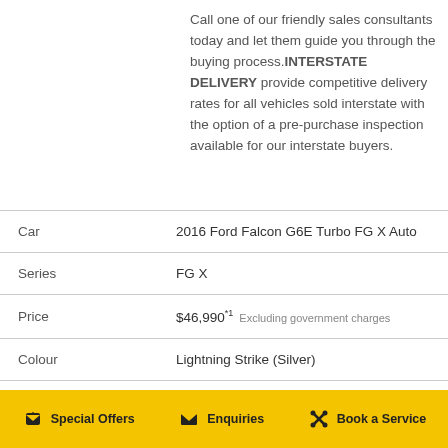Call one of our friendly sales consultants today and let them guide you through the buying process.INTERSTATE DELIVERY provide competitive delivery rates for all vehicles sold interstate with the option of a pre-purchase inspection available for our interstate buyers.
|  |  |
| --- | --- |
| Car | 2016 Ford Falcon G6E Turbo FG X Auto |
| Series | FG X |
| Price | $46,990*1   Excluding government charges |
| Colour | Lightning Strike (Silver) |
| Transmission | Sports Automatic |
Special Offers   Enquiries   Book a Service